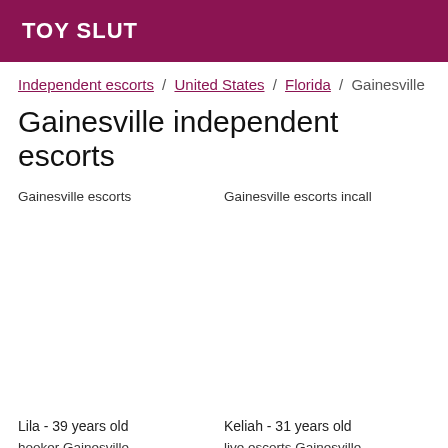TOY SLUT
Independent escorts / United States / Florida / Gainesville
Gainesville independent escorts
Gainesville escorts
Gainesville escorts incall
Lila - 39 years old
Keliah - 31 years old
hooker Gainesville
live escorts Gainesville